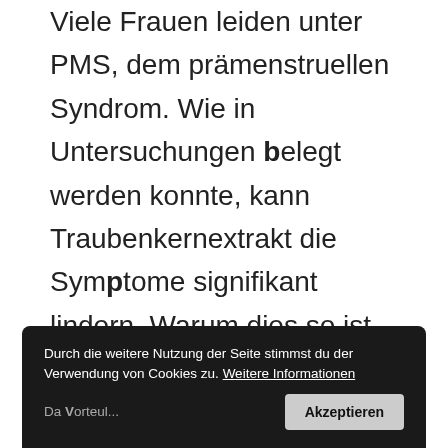Viele Frauen leiden unter PMS, dem prämenstruellen Syndrom. Wie in Untersuchungen belegt werden konnte, kann Traubenkernextrakt die Symptome signifikant lindern. Warum dies so ist, konnte aber noch nicht nachvollzogen werden. Wissenschaftler gehen davon aus, dass dies durch die Regulierung und Stärkung des Immunsystems zustande kommt.
Wundheilung
Traubenkernextrakt auch das